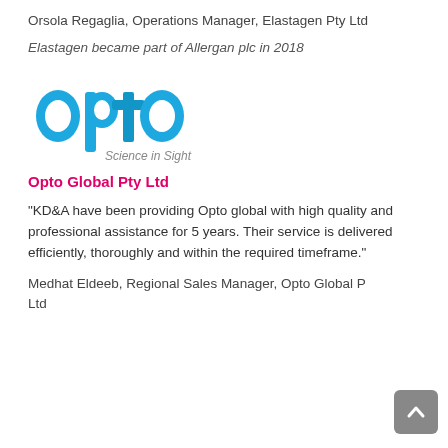Orsola Regaglia, Operations Manager, Elastagen Pty Ltd
Elastagen became part of Allergan plc in 2018
[Figure (logo): Opto Global logo with text 'opto' in blue and tagline 'Science in Sight']
Opto Global Pty Ltd
“KD&A have been providing Opto global with high quality and professional assistance for 5 years. Their service is delivered efficiently, thoroughly and within the required timeframe.”
Medhat Eldeeb, Regional Sales Manager, Opto Global Pty Ltd